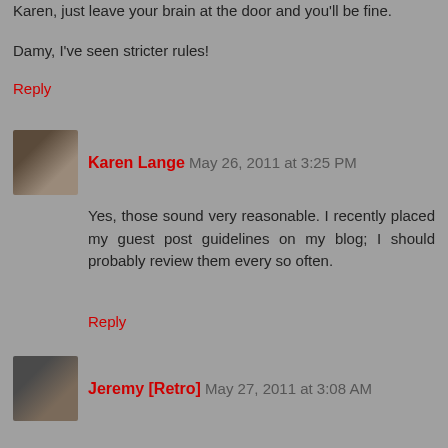Karen, just leave your brain at the door and you'll be fine.
Damy, I've seen stricter rules!
Reply
Karen Lange  May 26, 2011 at 3:25 PM
Yes, those sound very reasonable. I recently placed my guest post guidelines on my blog; I should probably review them every so often.
Reply
Jeremy [Retro]  May 27, 2011 at 3:08 AM
jack is fun pirates... was what i went into it with... but was i me, but he wasn't drunk all that much.
i likes them in the order they came out...
savvy!
Reply